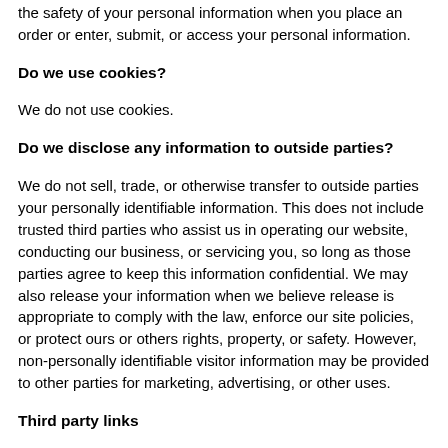the safety of your personal information when you place an order or enter, submit, or access your personal information.
Do we use cookies?
We do not use cookies.
Do we disclose any information to outside parties?
We do not sell, trade, or otherwise transfer to outside parties your personally identifiable information. This does not include trusted third parties who assist us in operating our website, conducting our business, or servicing you, so long as those parties agree to keep this information confidential. We may also release your information when we believe release is appropriate to comply with the law, enforce our site policies, or protect ours or others rights, property, or safety. However, non-personally identifiable visitor information may be provided to other parties for marketing, advertising, or other uses.
Third party links
Occasionally, at our discretion, we may include or offer third party products or services on our website. These third party sites have separate and independent privacy policies. We therefore have no responsibility or liability for